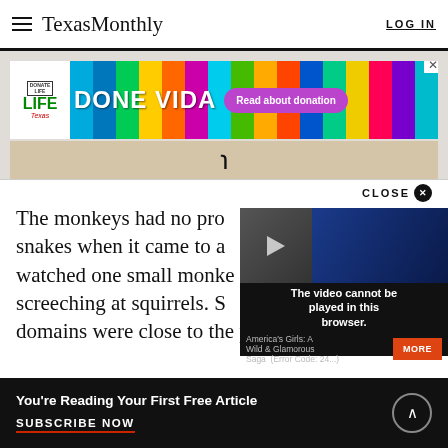TexasMonthly
[Figure (screenshot): Donate Life Texas advertisement banner: colorful vertical stripes background with 'DONE VIDA' text in white and a purple 'Read about donation' button]
[Figure (screenshot): Beige/parchment colored partial ad area with a stylized double-curve symbol in black]
The monkeys had no pro[blem with] snakes when it came to a [situation; I] watched one small monke[y] screeching at squirrels. S[ome] domains were close to the pedestrian walkway,
[Figure (screenshot): Video player overlay showing 'America's Girls: A Wild & Glamorous Saga' with error message 'The video cannot be played in this browser. (Error Code: 24...)' and a MORE button]
You're Reading Your First Free Article
SUBSCRIBE NOW